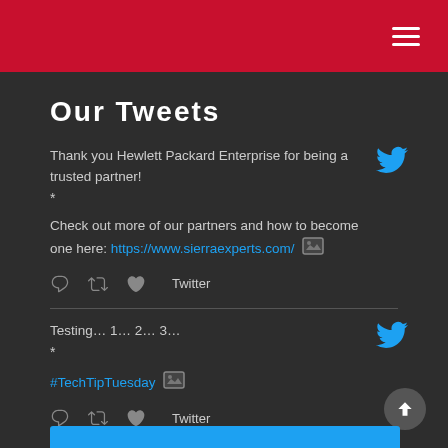Our Tweets
Thank you Hewlett Packard Enterprise for being a trusted partner!
*
Check out more of our partners and how to become one here: https://www.sierraexperts.com/
Twitter
Testing… 1… 2… 3…
*
#TechTipTuesday
Twitter